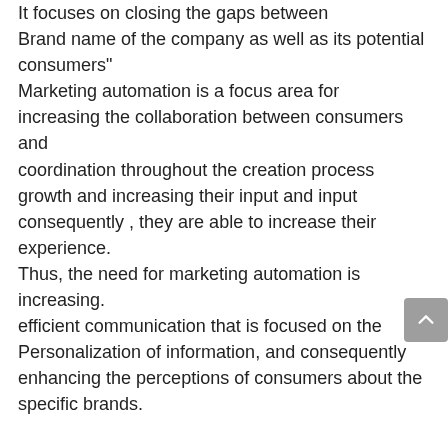It focuses on closing the gaps between Brand name of the company as well as its potential consumers" Marketing automation is a focus area for increasing the collaboration between consumers and coordination throughout the creation process growth and increasing their input and input consequently , they are able to increase their experience. Thus, the need for marketing automation is increasing. efficient communication that is focused on the Personalization of information, and consequently enhancing the perceptions of consumers about the specific brands.